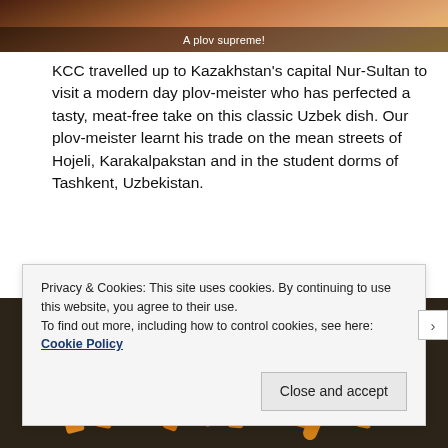[Figure (photo): Top portion of a plov dish with colorful elements visible, with a dark overlay caption band at the bottom]
A plov supreme!
KCC travelled up to Kazakhstan's capital Nur-Sultan to visit a modern day plov-meister who has perfected a tasty, meat-free take on this classic Uzbek dish. Our plov-meister learnt his trade on the mean streets of Hojeli, Karakalpakstan and in the student dorms of Tashkent, Uzbekistan.
[Figure (photo): Close-up photo of chopped carrots and vegetables being cooked in a dark wok or kazan for plov preparation]
Privacy & Cookies: This site uses cookies. By continuing to use this website, you agree to their use.
To find out more, including how to control cookies, see here: Cookie Policy